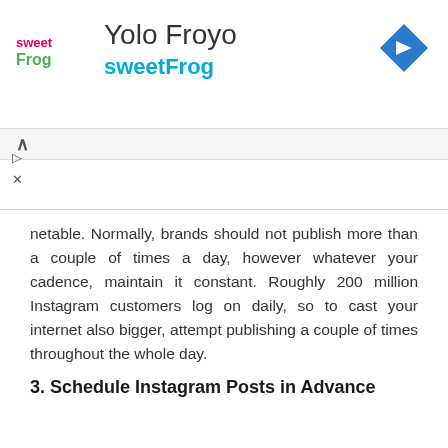[Figure (logo): sweetFrog frozen yogurt brand advertisement banner with logo, 'Yolo Froyo' title, 'sweetFrog' subtitle in blue, and a blue diamond navigation icon on the right]
netable. Normally, brands should not publish more than a couple of times a day, however whatever your cadence, maintain it constant. Roughly 200 million Instagram customers log on daily, so to cast your internet also bigger, attempt publishing a couple of times throughout the whole day.
3. Schedule Instagram Posts in Advance